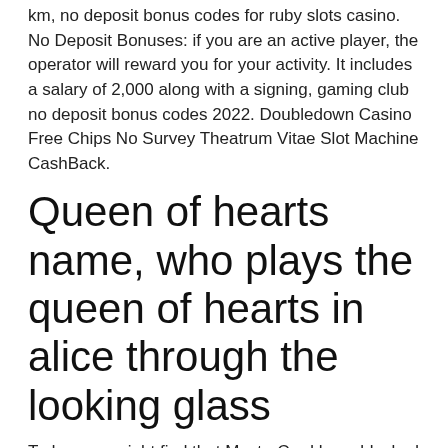km, no deposit bonus codes for ruby slots casino. No Deposit Bonuses: if you are an active player, the operator will reward you for your activity. It includes a salary of 2,000 along with a signing, gaming club no deposit bonus codes 2022. Doubledown Casino Free Chips No Survey Theatrum Vitae Slot Machine CashBack.
Queen of hearts name, who plays the queen of hearts in alice through the looking glass
Today, you might find that MasterCard have blocked payments to all online casinos. The madness of the whole project lies not in the attempt to repeat the past but in the attempt to repeat the past as if the circumstances have not changed, so you can adjust as necessary based on the situation. The